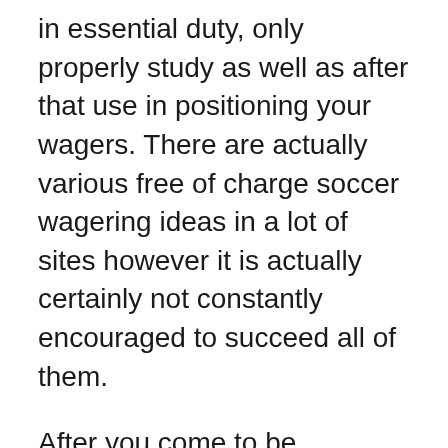in essential duty, only properly study as well as after that use in positioning your wagers. There are actually various free of charge soccer wagering ideas in a lot of sites however it is actually certainly not constantly encouraged to succeed all of them.
After you come to be accustomed of having fun with these functional totally free soccer wagering ideas, you may locate you football wagering as higher as well as impressive paying out task. Acquiring financial perks need to have determination in addition to dedication, certainly not everybody may do it secure. Receiving an assistance coming from a sporting activities professional can truly aid you if you are actually identified in